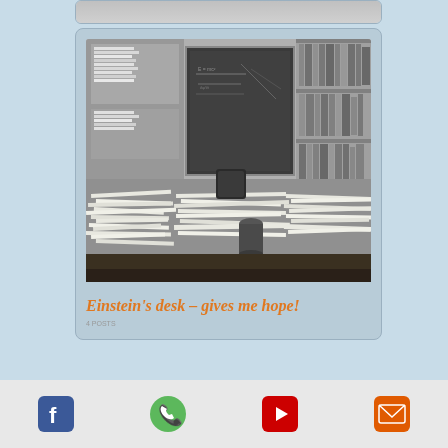[Figure (photo): Partial top of a card/post element cropped at the top edge]
[Figure (photo): Black and white photograph of Einstein's messy desk with papers, books, a blackboard with equations behind, and bookshelves on the right]
Einstein's desk – gives me hope!
Caption / date text below title
[Figure (infographic): Footer bar with four social/contact icons: Facebook (blue), Phone (green), YouTube (red), Email (orange/red)]